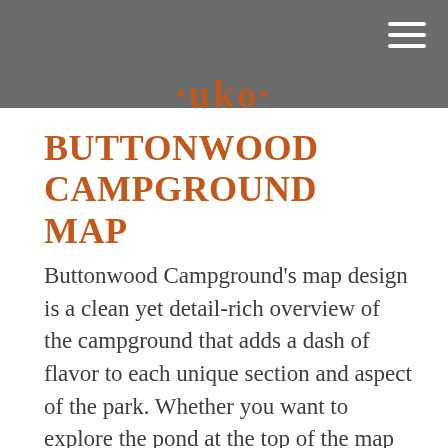Parks
BUTTONWOOD CAMPGROUND MAP
Buttonwood Campground's map design is a clean yet detail-rich overview of the campground that adds a dash of flavor to each unique section and aspect of the park. Whether you want to explore the pond at the top of the map or venture all the way down to the river tubing at the bottom, every road and path is clearly marked and easy to find from wherever your site is